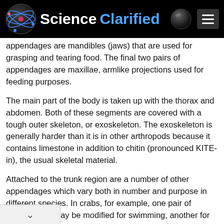Science Clarified
appendages are mandibles (jaws) that are used for grasping and tearing food. The final two pairs of appendages are maxillae, armlike projections used for feeding purposes.
The main part of the body is taken up with the thorax and abdomen. Both of these segments are covered with a tough outer skeleton, or exoskeleton. The exoskeleton is generally harder than it is in other arthropods because it contains limestone in addition to chitin (pronounced KITE-in), the usual skeletal material.
Attached to the trunk region are a number of other appendages which vary both in number and purpose in different species. In crabs, for example, one pair of appendages may be modified for swimming, another for feeding, another for carrying eggs, and yet another for catching prey.